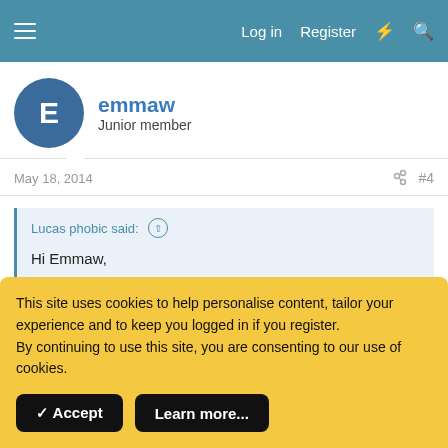Log in   Register
emmaw
Junior member
May 18, 2014  #4
Lucas phobic said:
Hi Emmaw,
My appointment is booked at 3 pm. And yours?
This site uses cookies to help personalise content, tailor your experience and to keep you logged in if you register.
By continuing to use this site, you are consenting to our use of cookies.